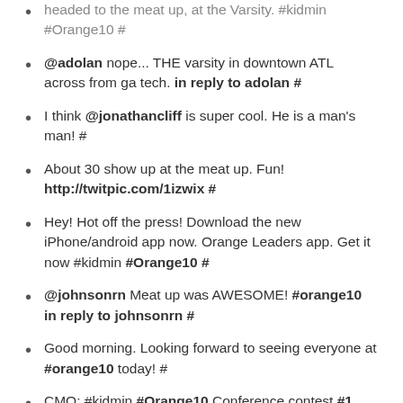headed to the meat up, at the Varsity. #kidmin #Orange10 #
@adolan nope... THE varsity in downtown ATL across from ga tech. in reply to adolan #
I think @jonathancliff is super cool. He is a man's man! #
About 30 show up at the meat up. Fun! http://twitpic.com/1izwix #
Hey! Hot off the press! Download the new iPhone/android app now. Orange Leaders app. Get it now #kidmin #Orange10 #
@johnsonrn Meat up was AWESOME! #orange10 in reply to johnsonrn #
Good morning. Looking forward to seeing everyone at #orange10 today! #
CMO: #kidmin #Orange10 Conference contest #1 http://bit.ly/arAGRo #